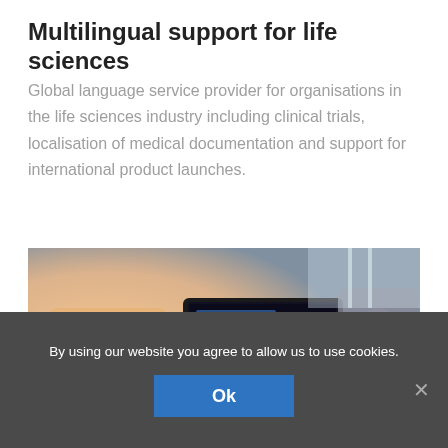Multilingual support for life sciences
Global language service provider for organisations in the life sciences industry including clinical trials, localisation of medical documentation and support for international product launches.
[Figure (photo): Business meeting scene showing people around a table with a laptop displaying data dashboards and charts, hands gesturing, tablet and documents visible.]
By using our website you agree to allow us to use cookies.
Ok